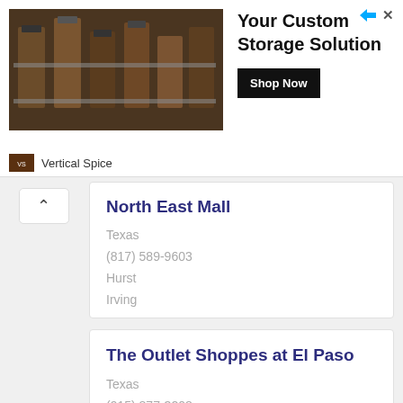[Figure (photo): Advertisement banner for Vertical Spice custom storage solution showing spice rack photo, bold text 'Your Custom Storage Solution', and a 'Shop Now' button]
North East Mall
Texas
(817) 589-9603
Hurst
Irving
The Outlet Shoppes at El Paso
Texas
(915) 877-3208
Canutillo